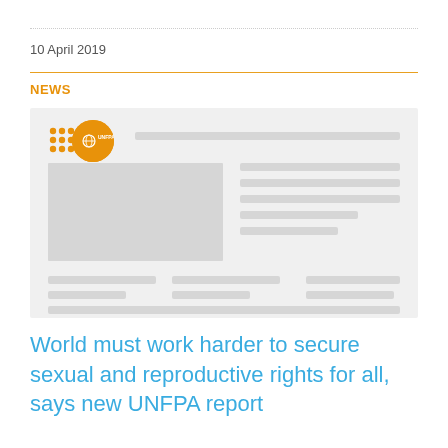10 April 2019
NEWS
[Figure (screenshot): Screenshot of UNFPA website showing logo, navigation bar, image placeholder, and text content placeholders represented as grey bars]
World must work harder to secure sexual and reproductive rights for all, says new UNFPA report